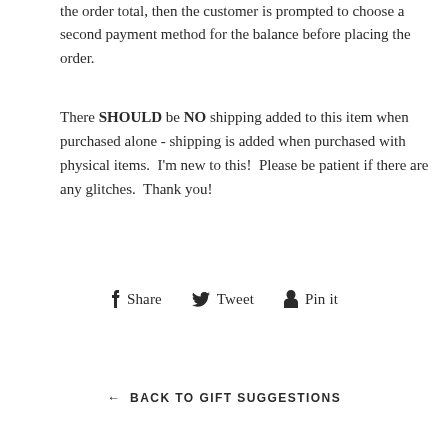the order total, then the customer is prompted to choose a second payment method for the balance before placing the order.
There SHOULD be NO shipping added to this item when purchased alone - shipping is added when purchased with physical items.  I'm new to this!  Please be patient if there are any glitches.  Thank you!
Share  Tweet  Pin it
← BACK TO GIFT SUGGESTIONS